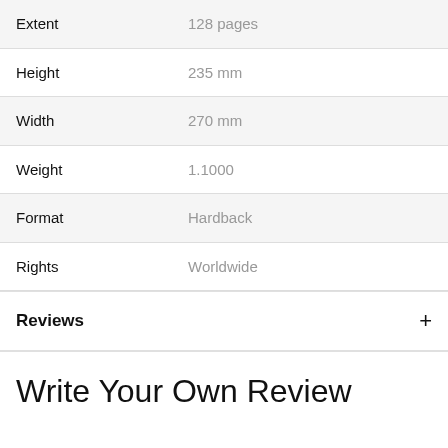| Attribute | Value |
| --- | --- |
| Extent | 128 pages |
| Height | 235 mm |
| Width | 270 mm |
| Weight | 1.1000 |
| Format | Hardback |
| Rights | Worldwide |
Reviews
Write Your Own Review